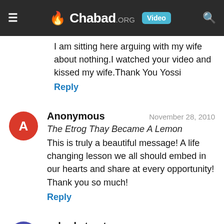Chabad.ORG Video
I am sitting here arguing with my wife about nothing.I watched your video and kissed my wife.Thank You Yossi
Reply
Anonymous — November 28, 2010
The Etrog Thay Became A Lemon
This is truly a beautiful message! A life changing lesson we all should embed in our hearts and share at every opportunity! Thank you so much!
Reply
yehuda trestman — s diego, ca — February 9, 2010
i love your videos it highlights crystalizes and